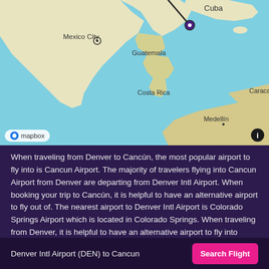[Figure (map): Map showing flight route from Denver to Cancun over Central America/Caribbean region, with Mapbox attribution. Shows Mexico City, Guatemala, Cuba, Costa Rica, Caracas, Medellín labels with a route line drawn from Denver area to Cancún.]
When traveling from Denver to Cancún, the most popular airport to fly into is Cancun Airport. The majority of travelers flying into Cancun Airport from Denver are departing from Denver Intl Airport. When booking your trip to Cancún, it is helpful to have an alternative airport to fly out of. The nearest airport to Denver Intl Airport is Colorado Springs Airport which is located in Colorado Springs. When traveling from Denver, it is helpful to have an alternative airport to fly into when you land in Cancún. The nearest airport to Cancun Airport is Cozumel Airport which is located in Cozumel. The cheapest route from Denver to Cancún is DEN — CUN with an average price of $194 RT during the month of August.
Denver Intl Airport (DEN) to Cancun
Search Flight